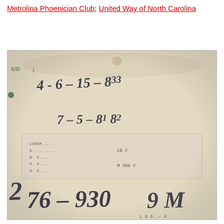Metrolina Phoenician Club; United Way of North Carolina
[Figure (photo): A blurry, aged handwritten note or card with handwritten numbers and text, partially obscured by a paper label/sticker. Visible handwritten text includes dates or numbers such as '6-15-8?', '7-5-8? 8?', '76-930', and other partially legible handwritten entries. A paper label overlays the middle portion with faint printed text.]